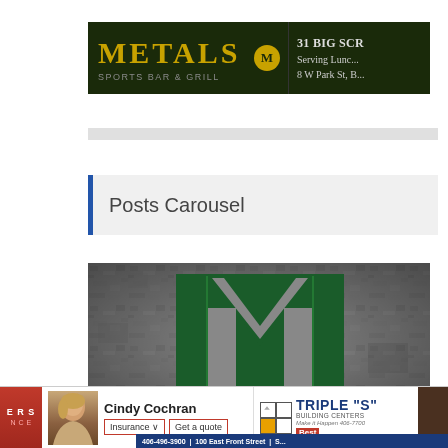[Figure (photo): Metals Sports Bar and Grill advertisement banner showing gold 'METALS' text on dark green/black background with '31 BIG SCR...' text and 'SERVING LUNC...' and '8 W PARK ST, B...' address text on right side]
[Figure (photo): Montana Tech MT interlocking logo on concrete/stone textured gray background — green block letters M and T intertwined]
Posts Carousel
[Figure (photo): Bottom advertisement bar with: partial blue insurance company logo on left, Cindy Cochran insurance agent photo with 'Insurance' and 'Get a quote' buttons in center, Triple S Building Centers logo on right, and partial dark image on far right]
406-496-3900 | 100 East Front Street | S...